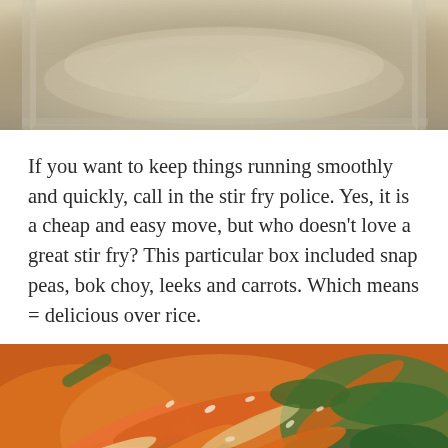[Figure (photo): Close-up photo of food in a glass baking dish, appears to be a grain or oat-based dish, viewed from above]
If you want to keep things running smoothly and quickly, call in the stir fry police. Yes, it is a cheap and easy move, but who doesn’t love a great stir fry? This particular box included snap peas, bok choy, leeks and carrots. Which means = delicious over rice.
[Figure (photo): Close-up photo of a stir fry dish with colorful vegetables including carrots, bok choy, snap peas, leeks, and rice mixed together]